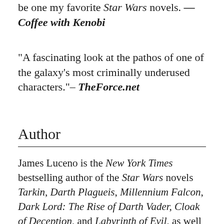be one my favorite Star Wars novels. —Coffee with Kenobi
“A fascinating look at the pathos of one of the galaxy’s most criminally underused characters.”–TheForce.net
Author
James Luceno is the New York Times bestselling author of the Star Wars novels Tarkin, Darth Plagueis, Millennium Falcon, Dark Lord: The Rise of Darth Vader, Cloak of Deception, and Labyrinth of Evil, as well as the New Jedi Order novels Agents